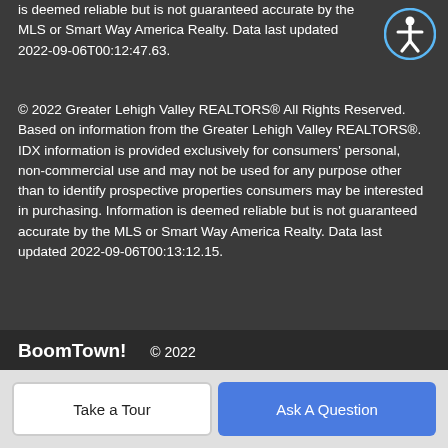is deemed reliable but is not guaranteed accurate by the MLS or Smart Way America Realty. Data last updated 2022-09-06T00:12:47.63.
© 2022 Greater Lehigh Valley REALTORS® All Rights Reserved. Based on information from the Greater Lehigh Valley REALTORS®. IDX information is provided exclusively for consumers' personal, non-commercial use and may not be used for any purpose other than to identify prospective properties consumers may be interested in purchasing. Information is deemed reliable but is not guaranteed accurate by the MLS or Smart Way America Realty. Data last updated 2022-09-06T00:13:12.15.
BoomTown! © 2022 | Terms of Use | Privacy Policy | Accessibility | DMCA | Listings Sitemap